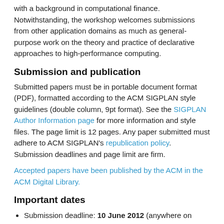with a background in computational finance. Notwithstanding, the workshop welcomes submissions from other application domains as much as general-purpose work on the theory and practice of declarative approaches to high-performance computing.
Submission and publication
Submitted papers must be in portable document format (PDF), formatted according to the ACM SIGPLAN style guidelines (double column, 9pt format). See the SIGPLAN Author Information page for more information and style files. The page limit is 12 pages. Any paper submitted must adhere to ACM SIGPLAN's republication policy. Submission deadlines and page limit are firm.
Accepted papers have been published by the ACM in the ACM Digital Library.
Important dates
Submission deadline: 10 June 2012 (anywhere on Earth)
Author notification: 27 June 2012
Final papers due: 10 July 2012
Workshop: 15 September 2012
Workshop organization